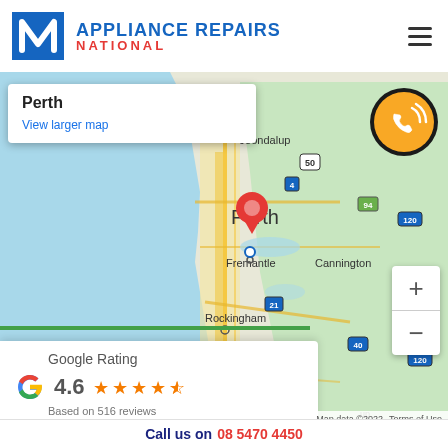[Figure (logo): Appliance Repairs National logo with blue N icon and brand text in blue and red]
[Figure (map): Google Maps screenshot showing Perth, Western Australia with markers for Perth, Fremantle, Joondalup, Rockingham, Mandurah, Cannington, Northam. Zoom controls visible. Map data 2022.]
Perth
View larger map
[Figure (infographic): Yellow circle phone icon with ringing symbol]
[Figure (infographic): Google Rating widget showing Google G logo, 4.6 stars, Based on 516 reviews]
Call us on 08 5470 4450